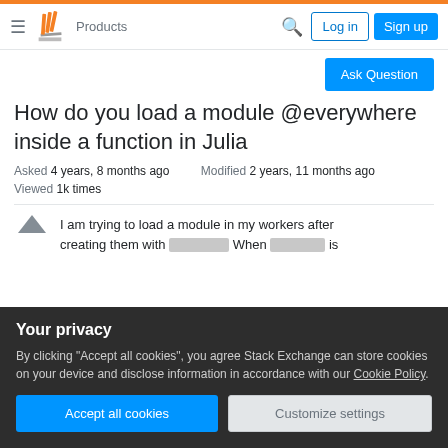≡ [Stack Overflow logo] Products | 🔍 Log in Sign up
Ask Question
How do you load a module @everywhere inside a function in Julia
Asked 4 years, 8 months ago  Modified 2 years, 11 months ago
Viewed 1k times
I am trying to load a module in my workers after creating them with addprocs(). When addprocs() is always on the top level, I would need to do this
Your privacy
By clicking "Accept all cookies", you agree Stack Exchange can store cookies on your device and disclose information in accordance with our Cookie Policy.
Accept all cookies  Customize settings